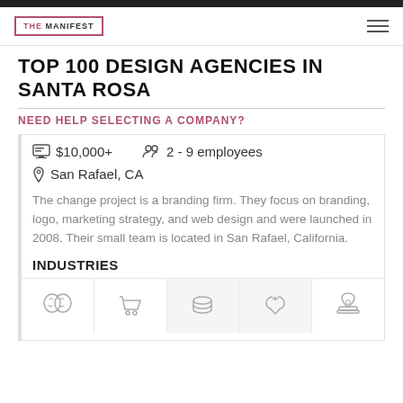THE MANIFEST
TOP 100 DESIGN AGENCIES IN SANTA ROSA
NEED HELP SELECTING A COMPANY?
$10,000+   2 - 9 employees
San Rafael, CA
The change project is a branding firm. They focus on branding, logo, marketing strategy, and web design and were launched in 2008. Their small team is located in San Rafael, California.
INDUSTRIES
[Figure (illustration): Five industry icons: theater masks, shopping cart, stacked coins, stethoscope, service bell]